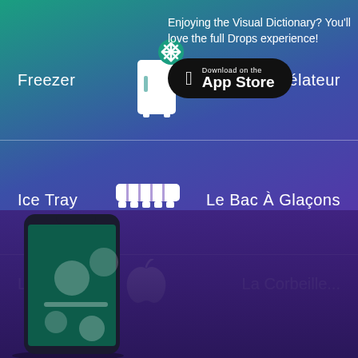Freezer
[Figure (illustration): White icon of a freezer/refrigerator with a snowflake badge]
Le Congélateur
Ice Tray
[Figure (illustration): White icon of an ice tray]
Le Bac À Glaçons
[Figure (illustration): White icon of an apple (partially visible)]
Le Corbeille (partially visible)
[Figure (screenshot): Smartphone showing Drops language learning app with food vocabulary]
Enjoying the Visual Dictionary? You'll love the full Drops experience!
Download on the App Store